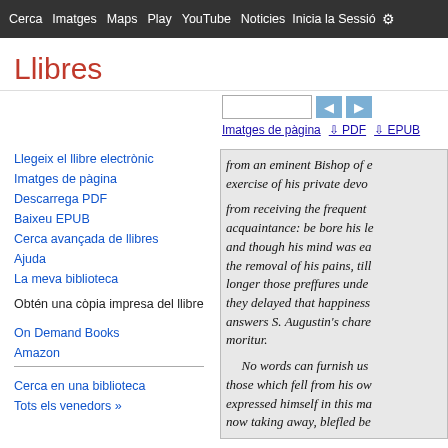Cerca  Imatges  Maps  Play  YouTube  Noticies  Inicia la Sessió  Me  ⚙
Llibres
Llegeix el llibre electrònic
Imatges de pàgina
Descarrega PDF
Baixeu EPUB
Cerca avançada de llibres
Ajuda
La meva biblioteca
Obtén una còpia impresa del llibre
On Demand Books
Amazon
Cerca en una biblioteca
Tots els venedors »
[Figure (screenshot): Scanned book page showing italic text: 'from an eminent Bishop of ... exercise of his private devo... from receiving the frequent ... acquaintance: be bore his l... and though his mind was e... the removal of his pains, til... longer those preffures und... they delayed that happiness... answers S. Augustin's char... moritur. No words can furnish us ... those which fell from his ow... expressed himself in this m... now taking away, blefled be...']